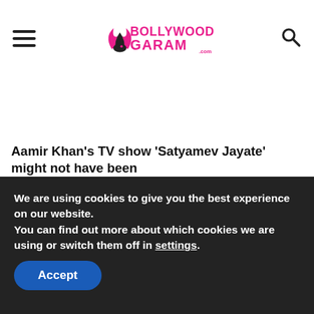Bollywood Garam
Aamir Khan’s TV show ‘Satyamev Jayate’ might not have been
We are using cookies to give you the best experience on our website.
You can find out more about which cookies we are using or switch them off in settings.
Accept